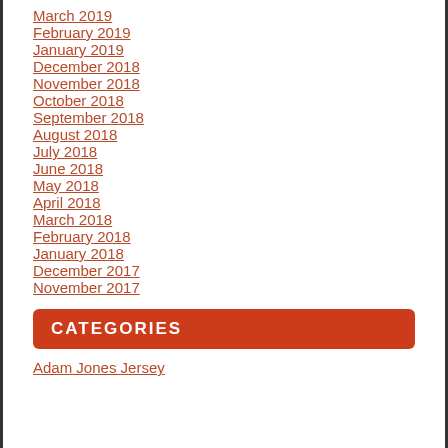March 2019
February 2019
January 2019
December 2018
November 2018
October 2018
September 2018
August 2018
July 2018
June 2018
May 2018
April 2018
March 2018
February 2018
January 2018
December 2017
November 2017
CATEGORIES
Adam Jones Jersey